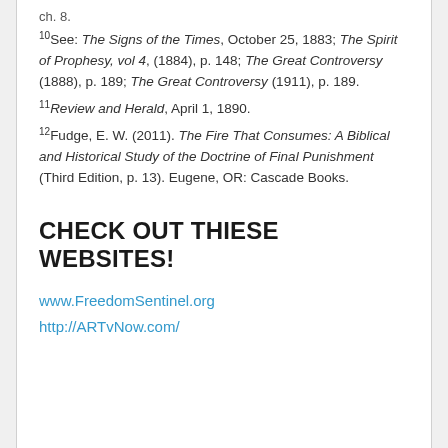ch. 8.
10See: The Signs of the Times, October 25, 1883; The Spirit of Prophesy, vol 4, (1884), p. 148; The Great Controversy (1888), p. 189; The Great Controversy (1911), p. 189.
11Review and Herald, April 1, 1890.
12Fudge, E. W. (2011). The Fire That Consumes: A Biblical and Historical Study of the Doctrine of Final Punishment (Third Edition, p. 13). Eugene, OR: Cascade Books.
CHECK OUT THIESE WEBSITES!
www.FreedomSentinel.org
http://ARTvNow.com/